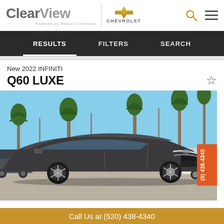[Figure (logo): ClearView Chevrolet dealership logo with Chevrolet bowtie emblem]
RESULTS   FILTERS   SEARCH
New 2022 INFINITI
Q60 LUXE
[Figure (photo): 2022 INFINITI Q60 LUXE in dark gray/charcoal color, photographed outdoors in a sunny parking lot with palm trees in the background]
Call Us at (520) 438-4340